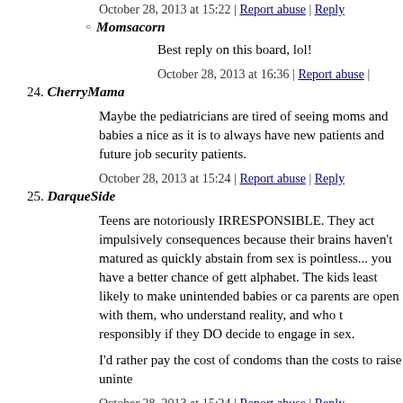October 28, 2013 at 15:22 | Report abuse | Reply
Momsacorn
Best reply on this board, lol!
October 28, 2013 at 16:36 | Report abuse |
24. CherryMama
Maybe the pediatricians are tired of seeing moms and babies a nice as it is to always have new patients and future job security patients.
October 28, 2013 at 15:24 | Report abuse | Reply
25. DarqueSide
Teens are notoriously IRRESPONSIBLE. They act impulsively consequences because their brains haven't matured as quickly abstain from sex is pointless... you have a better chance of gett alphabet. The kids least likely to make unintended babies or ca parents are open with them, who understand reality, and who t responsibly if they DO decide to engage in sex.
I'd rather pay the cost of condoms than the costs to raise uninte
October 28, 2013 at 15:24 | Report abuse | Reply
anchorite